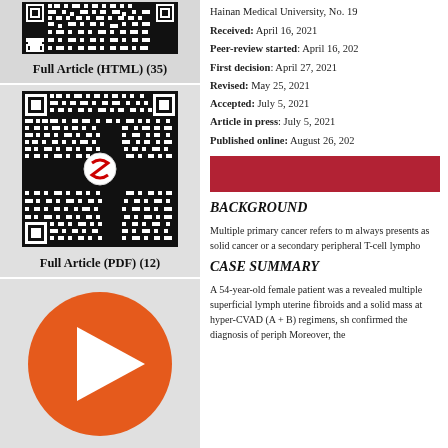[Figure (other): QR code thumbnail at top of left column]
Full Article (HTML) (35)
[Figure (other): QR code with Baishideng logo in center]
Full Article (PDF) (12)
[Figure (other): Orange circle with white play/arrow icon]
Hainan Medical University, No. 19
Received: April 16, 2021
Peer-review started: April 16, 202
First decision: April 27, 2021
Revised: May 25, 2021
Accepted: July 5, 2021
Article in press: July 5, 2021
Published online: August 26, 202
[Figure (other): Red horizontal banner bar]
BACKGROUND
Multiple primary cancer refers to m always presents as solid cancer or a secondary peripheral T-cell lympho
CASE SUMMARY
A 54-year-old female patient was a revealed multiple superficial lymph uterine fibroids and a solid mass at hyper-CVAD (A + B) regimens, sh confirmed the diagnosis of periph Moreover, the